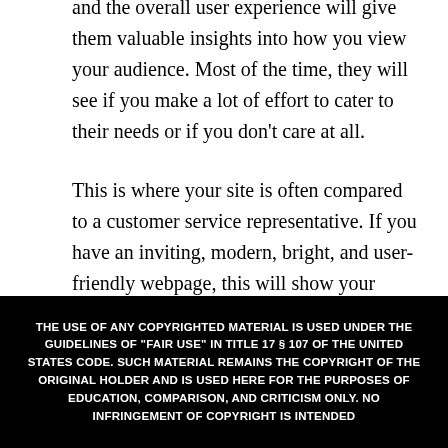and the overall user experience will give them valuable insights into how you view your audience. Most of the time, they will see if you make a lot of effort to cater to their needs or if you don't care at all.
This is where your site is often compared to a customer service representative. If you have an inviting, modern, bright, and user-friendly webpage, this will show your audience that they are more than welcome to stay and look around. On the other hand, an unappealing and outdated site will
THE USE OF ANY COPYRIGHTED MATERIAL IS USED UNDER THE GUIDELINES OF "FAIR USE" IN TITLE 17 § 107 OF THE UNITED STATES CODE. SUCH MATERIAL REMAINS THE COPYRIGHT OF THE ORIGINAL HOLDER AND IS USED HERE FOR THE PURPOSES OF EDUCATION, COMPARISON, AND CRITICISM ONLY. NO INFRINGEMENT OF COPYRIGHT IS INTENDED